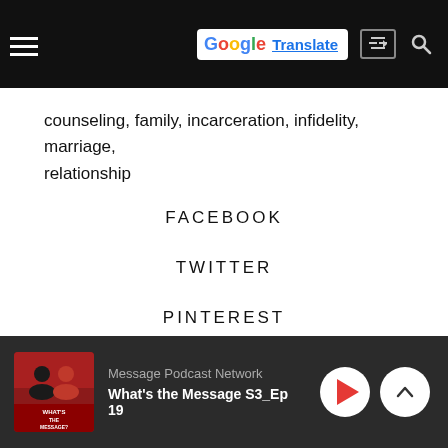counseling, family, incarceration, infidelity, marriage, relationship
FACEBOOK
TWITTER
PINTEREST
+
Message Podcast Network
What's the Message S3_Ep 19